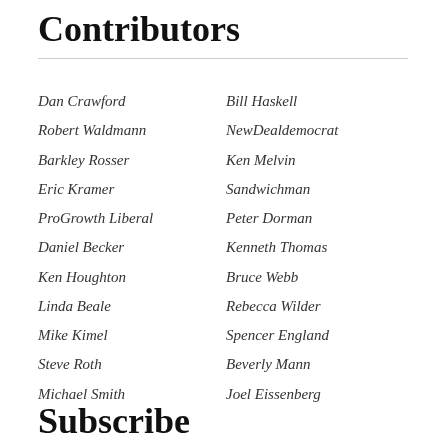Contributors
Dan Crawford
Bill Haskell
Robert Waldmann
NewDealdemocrat
Barkley Rosser
Ken Melvin
Eric Kramer
Sandwichman
ProGrowth Liberal
Peter Dorman
Daniel Becker
Kenneth Thomas
Ken Houghton
Bruce Webb
Linda Beale
Rebecca Wilder
Mike Kimel
Spencer England
Steve Roth
Beverly Mann
Michael Smith
Joel Eissenberg
Subscribe